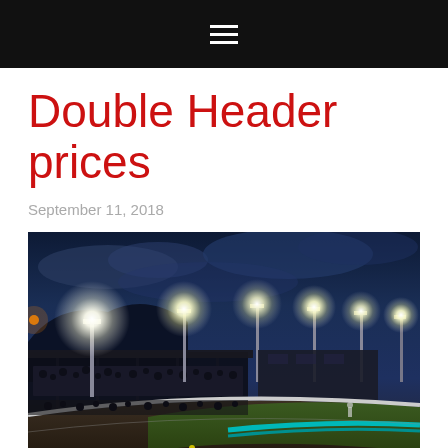≡
Double Header prices
September 11, 2018
[Figure (photo): Night-time photograph of a speedway/motorsport racing track with floodlights illuminating the oval circuit, grandstands with spectators visible on the left, dark blue cloudy sky above, and a curved track surface with teal barrier walls.]